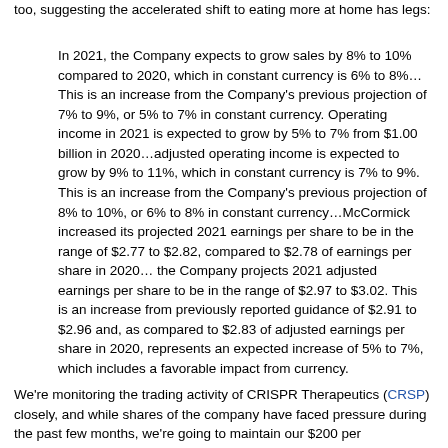too, suggesting the accelerated shift to eating more at home has legs:
In 2021, the Company expects to grow sales by 8% to 10% compared to 2020, which in constant currency is 6% to 8%…This is an increase from the Company's previous projection of 7% to 9%, or 5% to 7% in constant currency. Operating income in 2021 is expected to grow by 5% to 7% from $1.00 billion in 2020…adjusted operating income is expected to grow by 9% to 11%, which in constant currency is 7% to 9%. This is an increase from the Company's previous projection of 8% to 10%, or 6% to 8% in constant currency…McCormick increased its projected 2021 earnings per share to be in the range of $2.77 to $2.82, compared to $2.78 of earnings per share in 2020… the Company projects 2021 adjusted earnings per share to be in the range of $2.97 to $3.02. This is an increase from previously reported guidance of $2.91 to $2.96 and, as compared to $2.83 of adjusted earnings per share in 2020, represents an expected increase of 5% to 7%, which includes a favorable impact from currency.
We're monitoring the trading activity of CRISPR Therapeutics (CRSP) closely, and while shares of the company have faced pressure during the past few months, we're going to maintain our $200 per